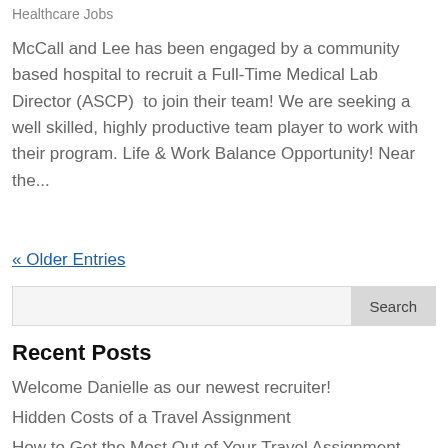Healthcare Jobs
McCall and Lee has been engaged by a community based hospital to recruit a Full-Time Medical Lab Director (ASCP)  to join their team! We are seeking a well skilled, highly productive team player to work with their program. Life & Work Balance Opportunity! Near the...
« Older Entries
Recent Posts
Welcome Danielle as our newest recruiter!
Hidden Costs of a Travel Assignment
How to Get the Most Out of Your Travel Assignment